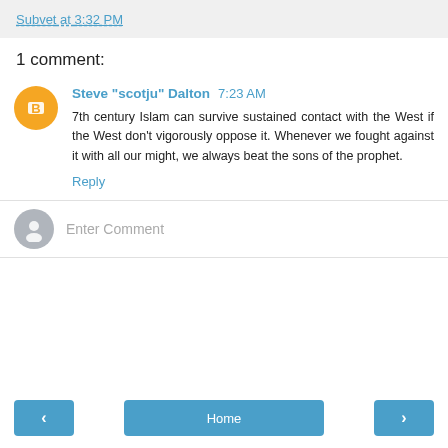Subvet at 3:32 PM
1 comment:
Steve "scotju" Dalton  7:23 AM
7th century Islam can survive sustained contact with the West if the West don't vigorously oppose it. Whenever we fought against it with all our might, we always beat the sons of the prophet.
Reply
Enter Comment
‹  Home  ›